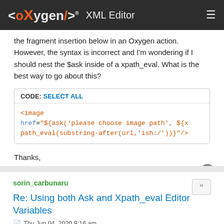<oxygen/> XML Editor
the fragment insertion below in an Oxygen action. However, the syntax is incorrect and I'm wondering if I should nest the $ask inside of a xpath_eval. What is the best way to go about this?
CODE: SELECT ALL
<image href="${ask('please choose image path', ${xpath_eval(substring-after(url,'ish:/'))}"/>
Thanks,
Ahmed
sorin_carbunaru
Re: Using both Ask and Xpath_eval Editor Variables
Thu Jun 04, 2020 9:16 am